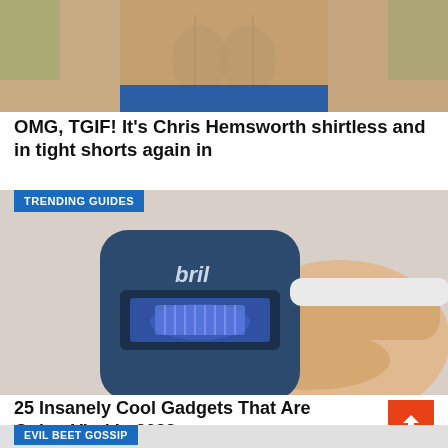[Figure (photo): Cropped photo of a shirtless muscular man from the waist up, wearing blue shorts, outdoors background]
OMG, TGIF! It's Chris Hemsworth shirtless and in tight shorts again in
[Figure (photo): Product photo: a hand holding a 'bril' brand UV toothbrush sanitizer device, dark blue square device with a glowing blue LED window, with an electric toothbrush inserted. 'TRENDING GUIDES' label overlaid in blue.]
25 Insanely Cool Gadgets That Are Going Viral In 2022
EVIL BEET GOSSIP